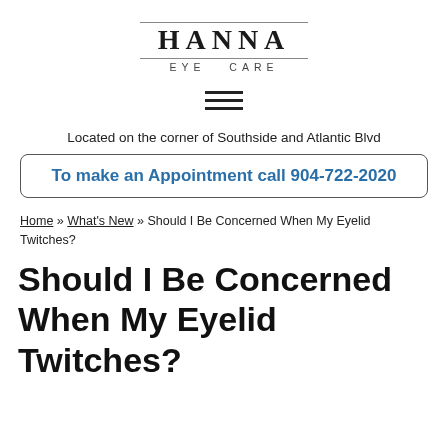[Figure (logo): Hanna Eye Care logo with serif HANNA text bordered top and bottom, EYE CARE in spaced capitals below]
[Figure (other): Hamburger menu icon with three horizontal lines]
Located on the corner of Southside and Atlantic Blvd
To make an Appointment call 904-722-2020
Home » What's New » Should I Be Concerned When My Eyelid Twitches?
Should I Be Concerned When My Eyelid Twitches?